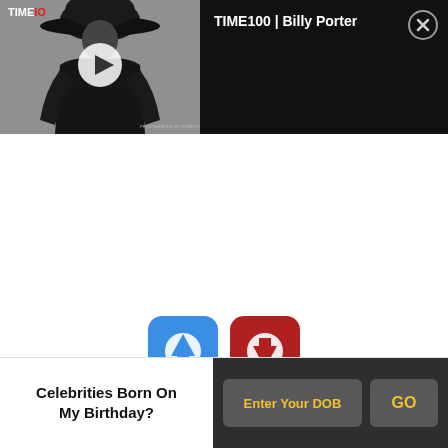[Figure (screenshot): Video player showing TIME100 Billy Porter. Left half shows black and white photo of Billy Porter wearing large hat, right half black panel with title and close button. Play button overlay on image.]
TIME100 | Billy Porter
[Figure (illustration): Two app icons: blue icon with upward arrow, red icon with downward arrow]
Celebrities Born On My Birthday?
Enter Your DOB
GO